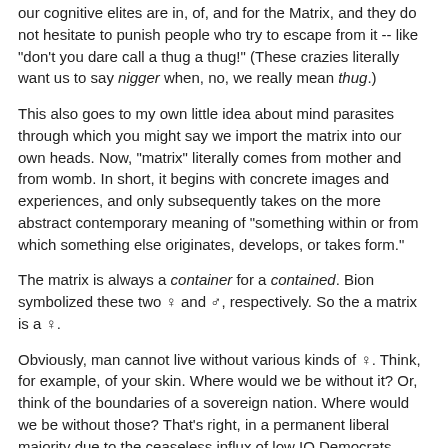our cognitive elites are in, of, and for the Matrix, and they do not hesitate to punish people who try to escape from it -- like "don't you dare call a thug a thug!" (These crazies literally want us to say nigger when, no, we really mean thug.)
This also goes to my own little idea about mind parasites through which you might say we import the matrix into our own heads. Now, "matrix" literally comes from mother and from womb. In short, it begins with concrete images and experiences, and only subsequently takes on the more abstract contemporary meaning of "something within or from which something else originates, develops, or takes form."
The matrix is always a container for a contained. Bion symbolized these two ♀ and ♂, respectively. So the a matrix is a ♀.
Obviously, man cannot live without various kinds of ♀. Think, for example, of your skin. Where would we be without it? Or, think of the boundaries of a sovereign nation. Where would we be without those? That's right, in a permanent liberal majority due to the ceaseless influx of low IQ Democrats.